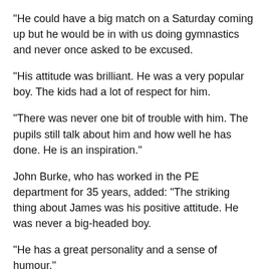“He could have a big match on a Saturday coming up but he would be in with us doing gymnastics and never once asked to be excused.
“His attitude was brilliant. He was a very popular boy. The kids had a lot of respect for him.
“There was never one bit of trouble with him. The pupils still talk about him and how well he has done. He is an inspiration.”
John Burke, who has worked in the PE department for 35 years, added: “The striking thing about James was his positive attitude. He was never a big-headed boy.
“He has a great personality and a sense of humour.”
Midfielder, James agreed that there is no danger his football